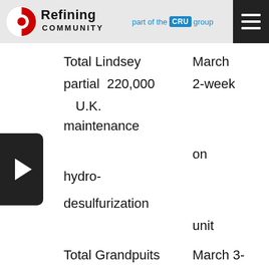Refining Community — part of the CRU group
| Company/Location | Date | Capacity/Duration | Notes |
| --- | --- | --- | --- |
| Total Lindsey U.K. | March | 220,000  2-week | partial maintenance on hydro-desulfurization unit |
| Total Grandpuits France | March 3-April 18 | 100,000  6-week | partial |